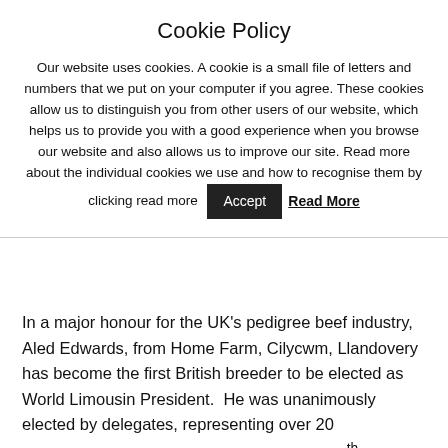Cookie Policy
Our website uses cookies. A cookie is a small file of letters and numbers that we put on your computer if you agree. These cookies allow us to distinguish you from other users of our website, which helps us to provide you with a good experience when you browse our website and also allows us to improve our site. Read more about the individual cookies we use and how to recognise them by clicking read more [Accept] [Read More]
In a major honour for the UK's pedigree beef industry, Aled Edwards, from Home Farm, Cilycwm, Llandovery has become the first British breeder to be elected as World Limousin President. He was unanimously elected by delegates, representing over 20 international Limousinassociations, at the 18th International Limousin Council AGM held recently in the conference centre of the Bank of Florence, Tuscany. Mr.